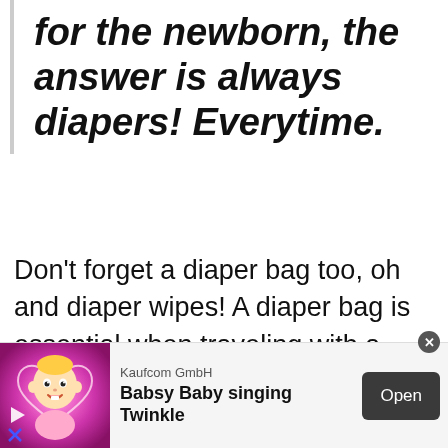for the newborn, the answer is always diapers! Everytime.
Don't forget a diaper bag too, oh and diaper wipes! A diaper bag is essential when traveling with a baby. These are 2 essential baby items.
[Figure (screenshot): Advertisement banner for Kaufcom GmbH app 'Babsy Baby singing Twinkle' showing a cartoon baby character on a pink/magenta background, with company name, app title in bold, and an 'Open' button on dark background.]